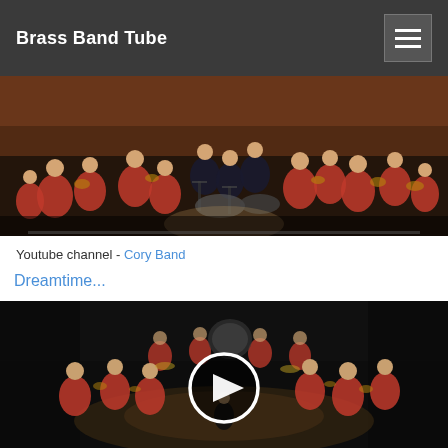Brass Band Tube
[Figure (photo): Brass band ensemble performing on stage, musicians wearing red uniforms, viewed from above/front angle]
Youtube channel - Cory Band
Dreamtime...
[Figure (screenshot): Video thumbnail of brass band on stage with play button overlay, musicians in red uniforms on dark stage]